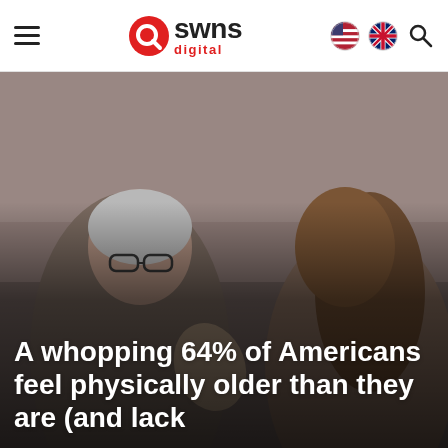SWNS Digital
[Figure (photo): Two women facing each other in a kitchen setting — an older woman with grey hair and glasses on the left appearing to argue or speak emphatically, a younger woman on the right listening. Photo has a dark reddish-brown overlay tone.]
A whopping 64% of Americans feel physically older than they are (and lack